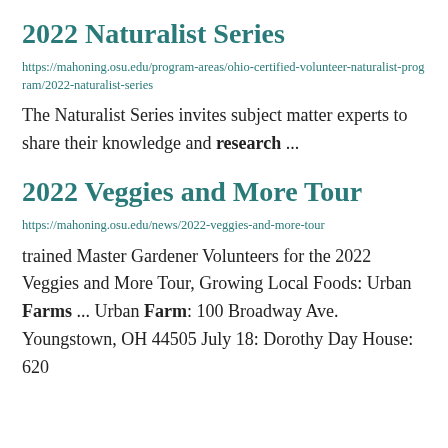2022 Naturalist Series
https://mahoning.osu.edu/program-areas/ohio-certified-volunteer-naturalist-program/2022-naturalist-series
The Naturalist Series invites subject matter experts to share their knowledge and research ...
2022 Veggies and More Tour
https://mahoning.osu.edu/news/2022-veggies-and-more-tour
trained Master Gardener Volunteers for the 2022 Veggies and More Tour, Growing Local Foods: Urban Farms ... Urban Farm: 100 Broadway Ave. Youngstown, OH 44505 July 18: Dorothy Day House: 620